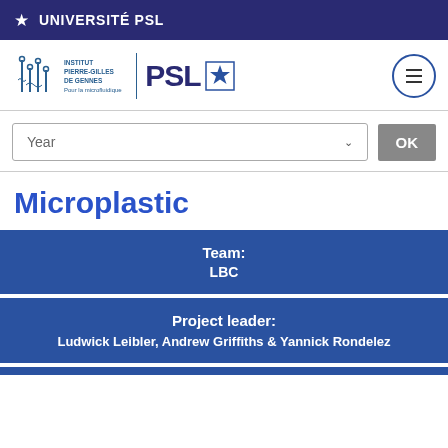UNIVERSITÉ PSL
[Figure (logo): Institut Pierre-Gilles de Gennes and PSL University logos with menu button]
Year  OK
Microplastic
Team:
LBC
Project leader:
Ludwick Leibler, Andrew Griffiths & Yannick Rondelez